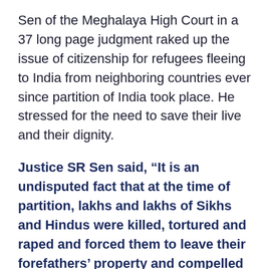Sen of the Meghalaya High Court in a 37 long page judgment raked up the issue of citizenship for refugees fleeing to India from neighboring countries ever since partition of India took place. He stressed for the need to save their live and their dignity.
Justice SR Sen said, “It is an undisputed fact that at the time of partition, lakhs and lakhs of Sikhs and Hindus were killed, tortured and raped and forced them to leave their forefathers’ property and compelled them to enter India to save their lives and dignity.”